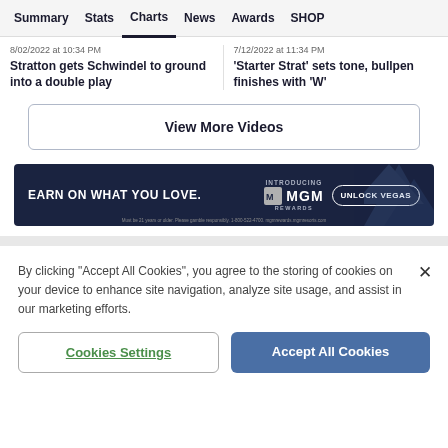Summary  Stats  Charts  News  Awards  SHOP
8/02/2022 at 10:34 PM
Stratton gets Schwindel to ground into a double play
7/12/2022 at 11:34 PM
'Starter Strat' sets tone, bullpen finishes with 'W'
View More Videos
[Figure (screenshot): MGM Rewards advertisement banner: 'EARN ON WHAT YOU LOVE. INTRODUCING MGM REWARDS. UNLOCK VEGAS']
By clicking "Accept All Cookies", you agree to the storing of cookies on your device to enhance site navigation, analyze site usage, and assist in our marketing efforts.
Cookies Settings
Accept All Cookies